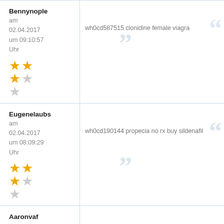Bennynople
am
02.04.2017
um 09:10:57
Uhr
wh0cd587515 clonidine female viagra
Eugenelaubs
am
02.04.2017
um 08:09:29
Uhr
wh0cd190144 propecia no rx buy sildenafil
Aaronvaf
am
01.04.2017